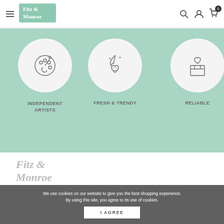Fitz & Monroe — Navigation header with hamburger menu, logo, search, account, and cart icons
[Figure (illustration): Three feature icons on mint green background: palette (Independent Artists), flame-heart (Fresh & Trendy), box-with-heart (Reliable)]
INDEPENDENT ARTISTS
FRESH & TRENDY
RELIABLE
[Figure (logo): Fitz & Monroe logo in grey on white background]
Information
Help Center & FAQ
Track your Order
We use cookies on our website to give you the best shopping experience. By using this site, you agree to its use of cookies.
I AGREE